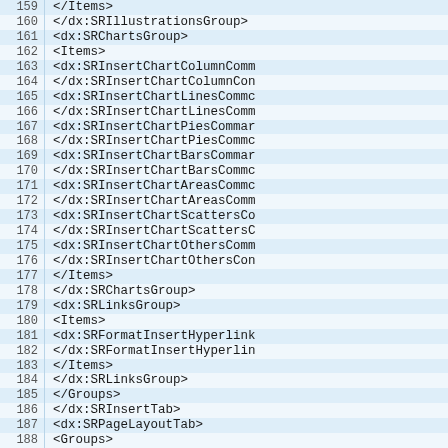[Figure (screenshot): Code editor view showing XML markup lines 159-188, with alternating light blue row highlighting and line numbers on the left. The XML contains elements related to SRIllustrationsGroup, SRChartsGroup, SRLinksGroup, SRInsertTab, and SRPageLayoutTab.]